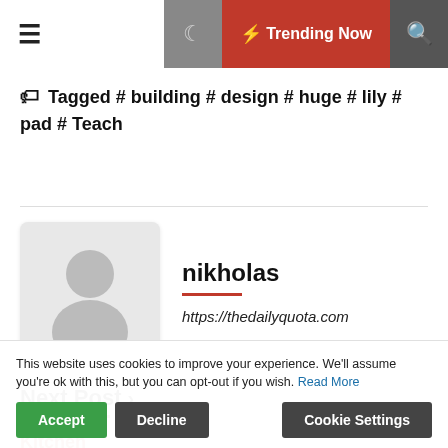≡  🌙  ⚡ Trending Now  🔍
🏷 Tagged # building # design # huge # lily # pad # Teach
nikholas
https://thedailyquota.com
Next Post ›
Kitchen
This website uses cookies to improve your experience. We'll assume you're ok with this, but you can opt-out if you wish. Read More
Accept  Decline  Cookie Settings